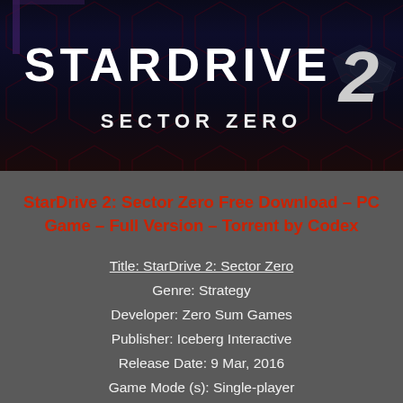[Figure (screenshot): StarDrive 2: Sector Zero game cover art showing the title 'STARDRIVE 2' in large white letters with 'SECTOR ZERO' below, on a dark space background with hexagonal pattern and a spaceship in the upper right. Purple and red accents.]
StarDrive 2: Sector Zero Free Download – PC Game – Full Version – Torrent by Codex
Title: StarDrive 2: Sector Zero
Genre: Strategy
Developer: Zero Sum Games
Publisher: Iceberg Interactive
Release Date: 9 Mar, 2016
Game Mode (s): Single-player
DESCRIPTION